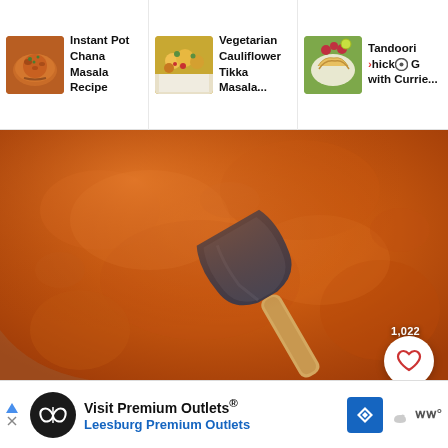[Figure (screenshot): Website navigation bar showing three recipe thumbnails: 'Instant Pot Chana Masala Recipe', 'Vegetarian Cauliflower Tikka Masala...', and 'Tandoori Chick[en] G[rills] with Currie[s]']
[Figure (photo): Close-up overhead photo of rich orange-red curry/masala sauce in a large bowl being stirred with a dark spatula with a wooden handle. A like button showing 1,022 and a search button are overlaid.]
[Figure (screenshot): Advertisement banner for 'Visit Premium Outlets® — Leesburg Premium Outlets' with navigation and weather icons]